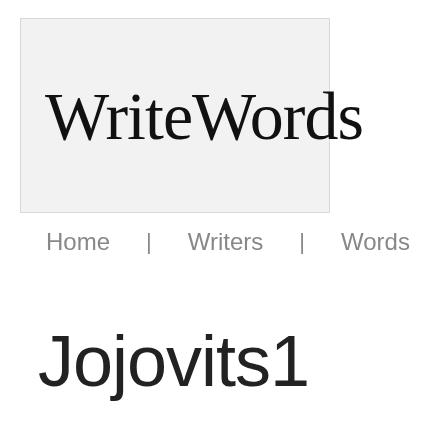[Figure (logo): WriteWords logo text in a light grey box]
Home | Writers | Words | Groups | Forums
Jojovits1